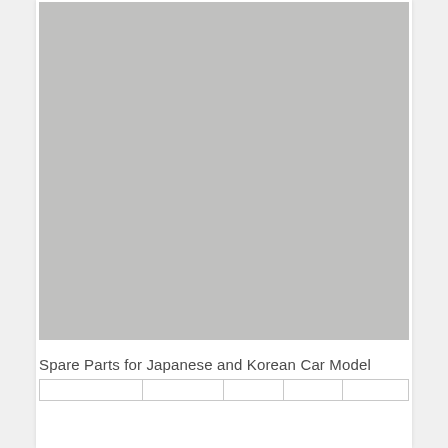[Figure (photo): Large grey placeholder image area occupying most of the page]
Spare Parts for Japanese and Korean Car Model
|  |  |  |  |  |